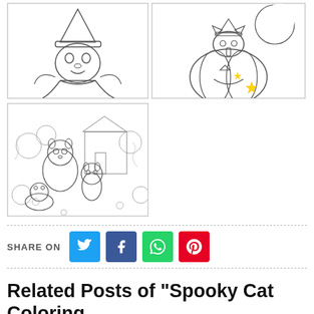[Figure (illustration): Coloring page of Tweety Bird dressed as a witch with a hat, black and white line art]
[Figure (illustration): Coloring page of a cat in a witch hat sitting on a Halloween pumpkin with a moon in the background, black and white line art with a small yellow star]
[Figure (illustration): Coloring page of chipmunks/squirrels in a detailed nature scene with flowers and a house, adult coloring style black and white line art]
SHARE ON
Related Posts of "Spooky Cat Coloring